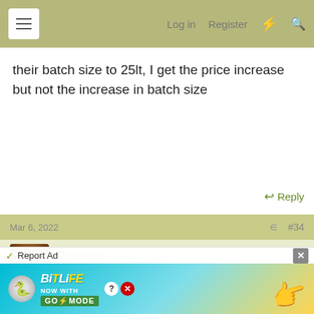Log in  Register
their batch size to 25lt, I get the price increase but not the increase in batch size
Reply
Mar 6, 2022   #34
Druncan  Senior Moments  Supporting Member
In September I was planning ahead for the brewing development. I made our first bulk order with Muntons for 25kg sacks of Planet extra light malt @ £0.57/kg they even gave me 1/2 pallet delivery @ £33 to Tiree.
[Figure (screenshot): BitLife advertisement banner: NOW WITH GOD MODE]
Report Ad